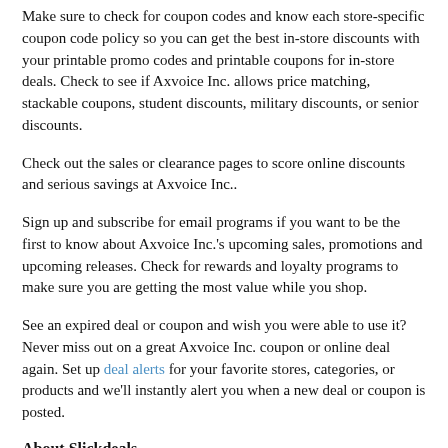Make sure to check for coupon codes and know each store-specific coupon code policy so you can get the best in-store discounts with your printable promo codes and printable coupons for in-store deals. Check to see if Axvoice Inc. allows price matching, stackable coupons, student discounts, military discounts, or senior discounts.
Check out the sales or clearance pages to score online discounts and serious savings at Axvoice Inc..
Sign up and subscribe for email programs if you want to be the first to know about Axvoice Inc.'s upcoming sales, promotions and upcoming releases. Check for rewards and loyalty programs to make sure you are getting the most value while you shop.
See an expired deal or coupon and wish you were able to use it? Never miss out on a great Axvoice Inc. coupon or online deal again. Set up deal alerts for your favorite stores, categories, or products and we'll instantly alert you when a new deal or coupon is posted.
About Slickdeals
Slickdeals is the leading crowdsourced shopping platform:
Slickdeals strives to offer a comprehensive coverage of the best coupons, promo codes and promotions for thousands of different stores like Axvoice Inc.. We have a dedicated team that works around the clock to